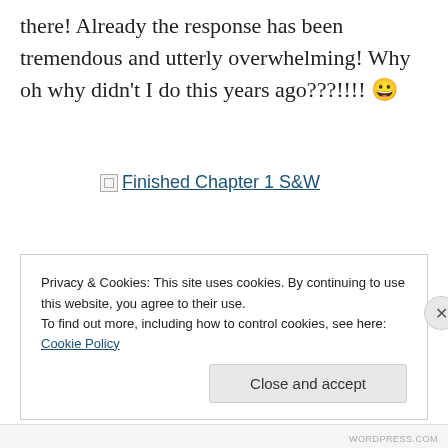there! Already the response has been tremendous and utterly overwhelming! Why oh why didn't I do this years ago???!!!! 😀
[Figure (other): Broken image placeholder with link text 'Finished Chapter 1 S&W']
Privacy & Cookies: This site uses cookies. By continuing to use this website, you agree to their use.
To find out more, including how to control cookies, see here: Cookie Policy
Close and accept
WORDPRESS.COM